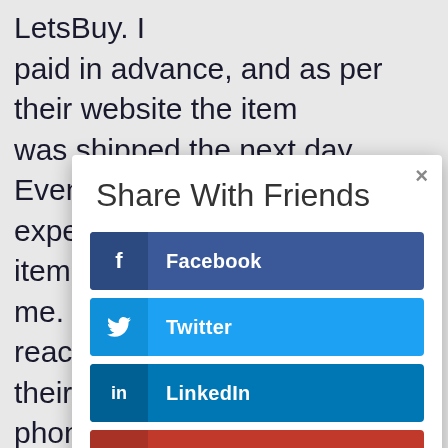LetsBuy. I paid in advance, and as per their website the item was shipped the next day. Even after the expected date of delivery, the item didn't reach me. When I was not able to reach a real human in their customer support over phone, I emailed them but they never replied.
Share With Friends
Facebook
Twitter
LinkedIn
Gmail